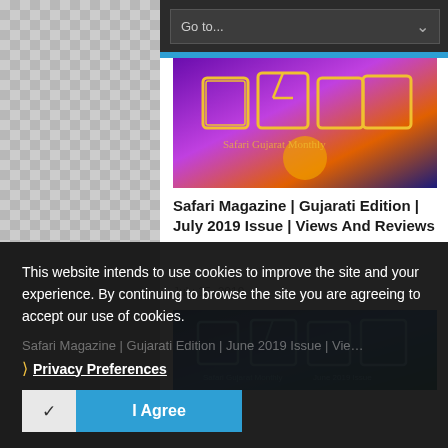[Figure (screenshot): Dropdown navigation bar with 'Go to...' text and down arrow chevron on dark background]
[Figure (photo): Safari Magazine Gujarati Edition July 2019 cover image with colorful geometric Gujarati script art on purple/orange background]
Safari Magazine | Gujarati Edition | July 2019 Issue | Views And Reviews
July 15, 2019
[Figure (photo): Safari Magazine Gujarati Edition June 2019 cover image with blue teal geometric Gujarati script art]
This website intends to use cookies to improve the site and your experience. By continuing to browse the site you are agreeing to accept our use of cookies.
Privacy Preferences
I Agree
Safari Magazine | Gujarati Edition | June 2019 Issue | Views
LEAVE A REPLY